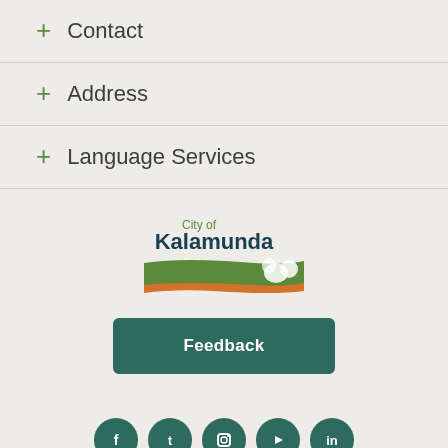+ Contact
+ Address
+ Language Services
[Figure (logo): City of Kalamunda logo with green banner and possum graphic]
Feedback
[Figure (other): Row of social media icon circles (Facebook, Twitter, Instagram, YouTube, and more) in dark teal]